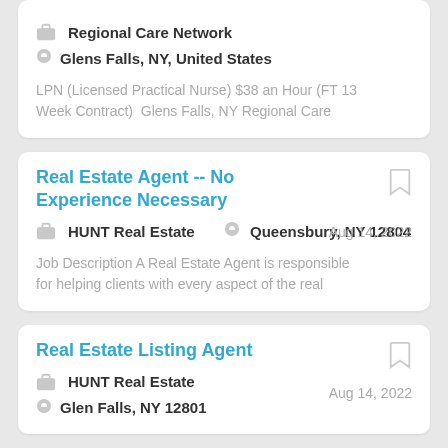Regional Care Network | Glens Falls, NY, United States | LPN (Licensed Practical Nurse) $38 an Hour (FT 13 Week Contract)  Glens Falls, NY Regional Care
Real Estate Agent -- No Experience Necessary
Aug 14, 2022
HUNT Real Estate
Queensbury, NY 12804
Job Description A Real Estate Agent is responsible for helping clients with every aspect of the real
Real Estate Listing Agent
Aug 14, 2022
HUNT Real Estate
Glen Falls, NY 12801